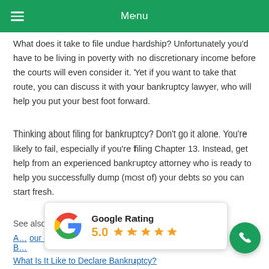Menu
What does it take to file undue hardship? Unfortunately you'd have to be living in poverty with no discretionary income before the courts will even consider it. Yet if you want to take that route, you can discuss it with your bankruptcy lawyer, who will help you put your best foot forward.
Thinking about filing for bankruptcy? Don't go it alone. You're likely to fail, especially if you're filing Chapter 13. Instead, get help from an experienced bankruptcy attorney who is ready to help you successfully dump (most of) your debts so you can start fresh.
See also:
A… our Orange County B…
[Figure (infographic): Google Rating popup showing 5.0 rating with 5 gold stars]
What Is It Like to Declare Bankruptcy?